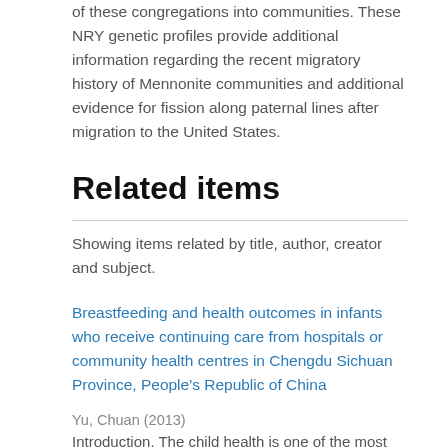of these congregations into communities. These NRY genetic profiles provide additional information regarding the recent migratory history of Mennonite communities and additional evidence for fission along paternal lines after migration to the United States.
Related items
Showing items related by title, author, creator and subject.
Breastfeeding and health outcomes in infants who receive continuing care from hospitals or community health centres in Chengdu Sichuan Province, People's Republic of China
Yu, Chuan (2013)
Introduction. The child health is one of the most important